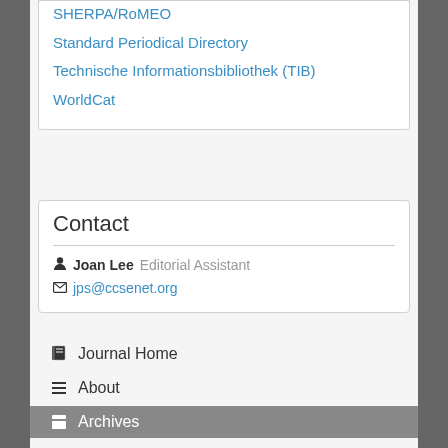SHERPA/RoMEO
Standard Periodical Directory
Technische Informationsbibliothek (TIB)
WorldCat
Contact
Joan Lee  Editorial Assistant
jps@ccsenet.org
Journal Home
About
Archives
Announcements
Editorial Team